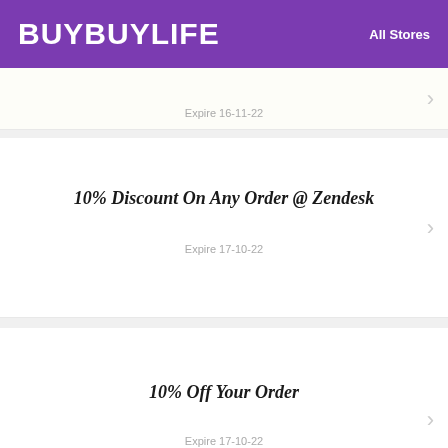BUYBUYLIFE — All Stores
Expire 16-11-22
10% Discount On Any Order @ Zendesk
Expire 17-10-22
10% Off Your Order
Expire 17-10-22
Grab Up To 20% Off Selected Items